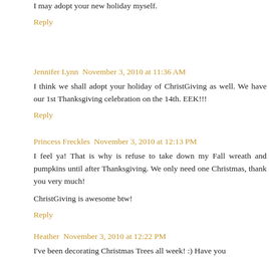I may adopt your new holiday myself.
Reply
Jennifer Lynn   November 3, 2010 at 11:36 AM
I think we shall adopt your holiday of ChristGiving as well. We have our 1st Thanksgiving celebration on the 14th. EEK!!!
Reply
Princess Freckles   November 3, 2010 at 12:13 PM
I feel ya! That is why is refuse to take down my Fall wreath and pumpkins until after Thanksgiving. We only need one Christmas, thank you very much!
ChristGiving is awesome btw!
Reply
Heather   November 3, 2010 at 12:22 PM
I've been decorating Christmas Trees all week! :) Have you heard to... Not sure what to say!?! That could kick off...